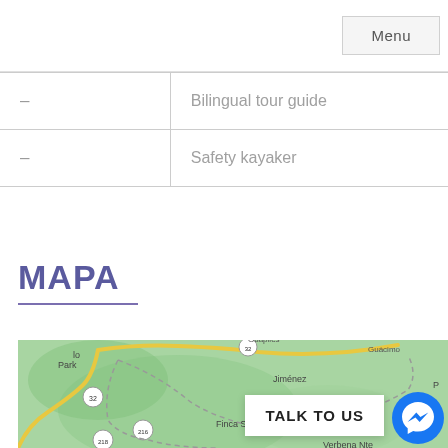Menu
| – | Bilingual tour guide |
| – | Safety kayaker |
MAPA
[Figure (map): Map showing area around Guápiles, Guácimo, Jiménez, Finca Silvia, and surrounding national park in Costa Rica. Roads including route 32 and 216 and 218 are visible. Map is rendered in green tones with yellow road markings.]
TALK TO US